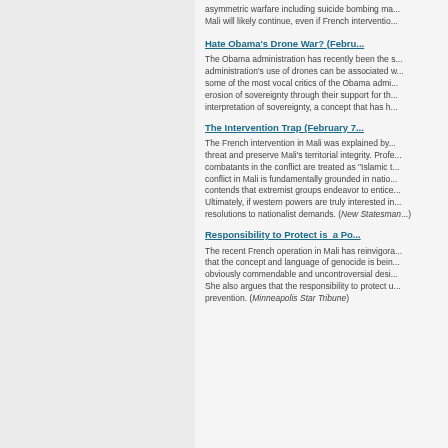asymmetric warfare including suicide bombing ma... Mali will likely continue, even if French interventio...
Hate Obama's Drone War? (Febru...
The Obama administration has recently been the s... administration's use of drones can be associated w... some of the most vocal critics of the Obama admi... erosion of sovereignty through their support for th... interpretation of sovereignty, a concept that has h...
The Intervention Trap (February 7...
The French intervention in Mali was explained by... threat and preserve Mali's territorial integrity. Profe... combatants in the conflict are treated as "Islamic t... conflict in Mali is fundamentally grounded in natio... contends that extremist groups endeavor to entice... Ultimately, if western powers are truly interested in... resolutions to nationalist demands. (New Statesman)
Responsibility to Protect is a Po...
The recent French operation in Mali has reinvigora... that the concept and language of genocide is bein... obviously commendable and uncontroversial desi... She also argues that the responsibility to protect u... prevention. (Minneapolis Star Tribune)